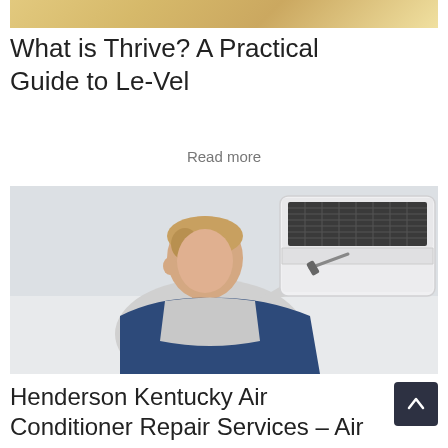[Figure (photo): Partial top image cropped, showing warm yellow/gold tones, likely a lifestyle or product photo]
What is Thrive? A Practical Guide to Le-Vel
Read more
[Figure (photo): A man in a gray shirt and blue overalls using a tool to service or repair a wall-mounted air conditioning unit. The AC unit's front panel is open revealing the filter and internal components.]
Henderson Kentucky Air Conditioner Repair Services – Air Conditioning Repair